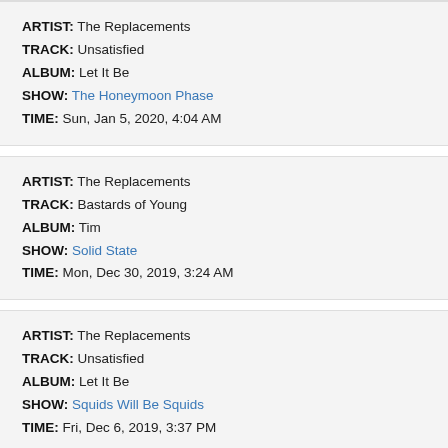ARTIST: The Replacements
TRACK: Unsatisfied
ALBUM: Let It Be
SHOW: The Honeymoon Phase
TIME: Sun, Jan 5, 2020, 4:04 AM
ARTIST: The Replacements
TRACK: Bastards of Young
ALBUM: Tim
SHOW: Solid State
TIME: Mon, Dec 30, 2019, 3:24 AM
ARTIST: The Replacements
TRACK: Unsatisfied
ALBUM: Let It Be
SHOW: Squids Will Be Squids
TIME: Fri, Dec 6, 2019, 3:37 PM
ARTIST: The Replacements
TRACK: Left of the Dial
ALBUM: Tim